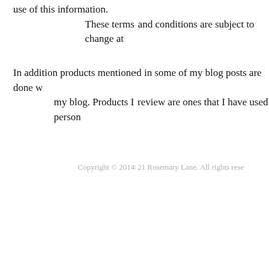use of this information. These terms and conditions are subject to change at
In addition products mentioned in some of my blog posts are done w my blog. Products I review are ones that I have used person
Copyright © 2014 21 Rosemary Lane. All rights rese